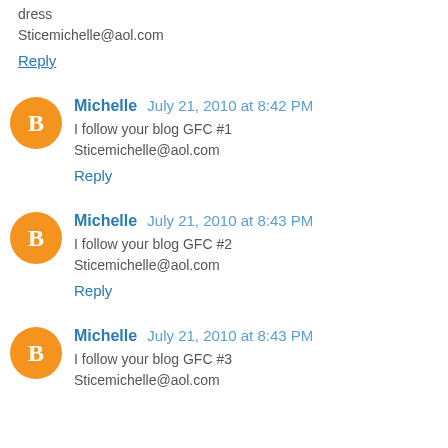dress
Sticemichelle@aol.com
Reply
Michelle  July 21, 2010 at 8:42 PM
I follow your blog GFC #1
Sticemichelle@aol.com
Reply
Michelle  July 21, 2010 at 8:43 PM
I follow your blog GFC #2
Sticemichelle@aol.com
Reply
Michelle  July 21, 2010 at 8:43 PM
I follow your blog GFC #3
Sticemichelle@aol.com